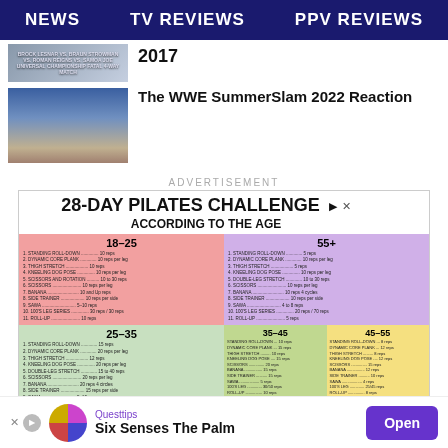NEWS  TV REVIEWS  PPV REVIEWS
2017
The WWE SummerSlam 2022 Reaction
ADVERTISEMENT
[Figure (infographic): 28-Day Pilates Challenge According to the Age advertisement with exercise lists for age groups 18-25, 25-35, 35-45, 45-55, and 55+]
Wondering How To Do Pilates Exercises For Seniors? Take An Quiz & Get Best Exersices
[Figure (infographic): Bottom advertisement banner: Questtips - Six Senses The Palm with Open button]